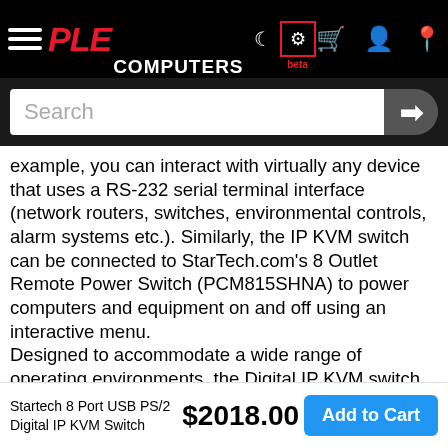PLE COMPUTERS
example, you can interact with virtually any device that uses a RS-232 serial terminal interface (network routers, switches, environmental controls, alarm systems etc.). Similarly, the IP KVM switch can be connected to StarTech.com's 8 Outlet Remote Power Switch (PCM815SHNA) to power computers and equipment on and off using an interactive menu. Designed to accommodate a wide range of operating environments, the Digital IP KVM switch is compatible with PC, Mac and Sun Servers/Systems, ensuring the flexibility needed to efficiently manage connected devices regardless of operating platform. To provide further versatility, the switch supports computers with USB or PS/2 keyboard and mouse connectors allowing a broader mix of connected computers including both legacy (PS/2)
Startech 8 Port USB PS/2 Digital IP KVM Switch
$2018.00
Add to Cart